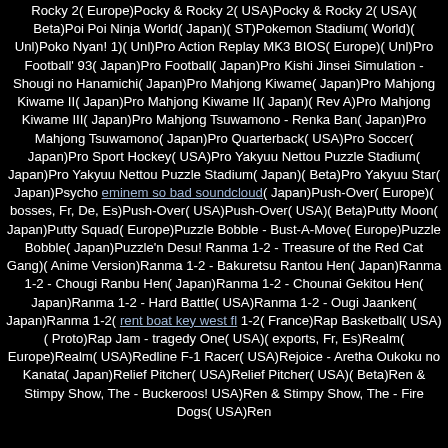Rocky 2( Europe)Pocky & Rocky 2( USA)Pocky & Rocky 2( USA)( Beta)Poi Poi Ninja World( Japan)( ST)Pokemon Stadium( World)( Unl)Poko Nyan! 1)( Unl)Pro Action Replay MK3 BIOS( Europe)( Unl)Pro Football' 93( Japan)Pro Football( Japan)Pro Kishi Jinsei Simulation - Shougi no Hanamichi( Japan)Pro Mahjong Kiwame( Japan)Pro Mahjong Kiwame II( Japan)Pro Mahjong Kiwame II( Japan)( Rev A)Pro Mahjong Kiwame III( Japan)Pro Mahjong Tsuwamono - Renka Ban( Japan)Pro Mahjong Tsuwamono( Japan)Pro Quarterback( USA)Pro Soccer( Japan)Pro Sport Hockey( USA)Pro Yakyuu Nettou Puzzle Stadium( Japan)Pro Yakyuu Nettou Puzzle Stadium( Japan)( Beta)Pro Yakyuu Star( Japan)Psycho eminem so bad soundcloud( Japan)Push-Over( Europe)( bosses, Fr, De, Es)Push-Over( USA)Push-Over( USA)( Beta)Putty Moon( Japan)Putty Squad( Europe)Puzzle Bobble - Bust-A-Move( Europe)Puzzle Bobble( Japan)Puzzle'n Desu! Ranma 1-2 - Treasure of the Red Cat Gang)( Anime Version)Ranma 1-2 - Bakuretsu Rantou Hen( Japan)Ranma 1-2 - Chougi Ranbu Hen( Japan)Ranma 1-2 - Chounai Gekitou Hen( Japan)Ranma 1-2 - Hard Battle( USA)Ranma 1-2 - Ougi Jaanken( Japan)Ranma 1-2( rent boat key west fl 1-2( France)Rap Basketball( USA)( Proto)Rap Jam - tragedy One( USA)( exports, Fr, Es)Realm( Europe)Realm( USA)Redline F-1 Racer( USA)Rejoice - Aretha Oukoku no Kanata( Japan)Relief Pitcher( USA)Relief Pitcher( USA)( Beta)Ren & Stimpy Show, The - Buckeroos! USA)Ren & Stimpy Show, The - Fire Dogs( USA)Ren